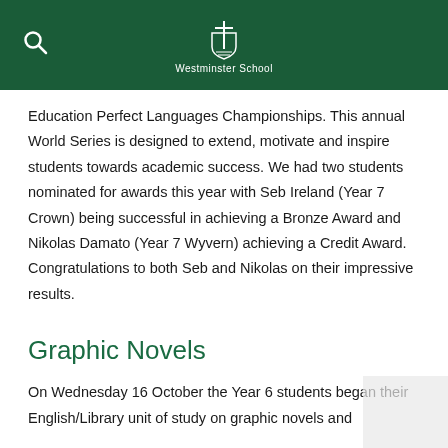Westminster School
Education Perfect Languages Championships. This annual World Series is designed to extend, motivate and inspire students towards academic success. We had two students nominated for awards this year with Seb Ireland (Year 7 Crown) being successful in achieving a Bronze Award and Nikolas Damato (Year 7 Wyvern) achieving a Credit Award. Congratulations to both Seb and Nikolas on their impressive results.
Graphic Novels
On Wednesday 16 October the Year 6 students began their English/Library unit of study on graphic novels and